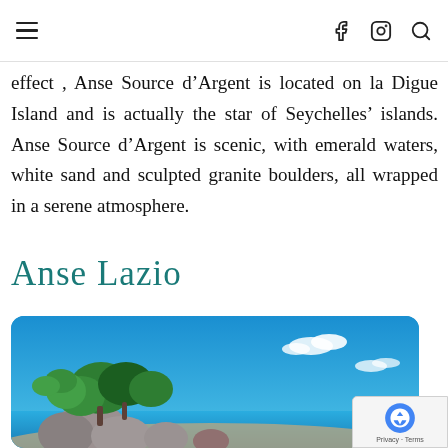navigation bar with hamburger menu, Facebook, Instagram, and search icons
effect , Anse Source d’Argent is located on la Digue Island and is actually the star of Seychelles’ islands. Anse Source d’Argent is scenic, with emerald waters, white sand and sculpted granite boulders, all wrapped in a serene atmosphere.
Anse Lazio
[Figure (photo): Tropical beach scene with granite boulders, lush green trees against a bright blue sky with scattered clouds, characteristic of Seychelles beaches.]